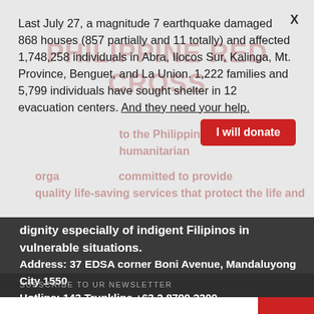Last July 27, a magnitude 7 earthquake damaged 868 houses (857 partially and 11 totally) and affected 1,748,258 individuals in Abra, Ilocos Sur, Kalinga, Mt. Province, Benguet, and La Union. 1,222 families and 5,799 individuals have sought shelter in 12 evacuation centers. And they need your help.
I will donate
dignity especially of indigent Filipinos in vulnerable situations.
Address: 37 EDSA corner Boni Avenue, Mandaluyong City 1550
Hotline: 143 Trunkline +63 2 8790 2300
SUBSCRIBE TO UR NEWSLETTER